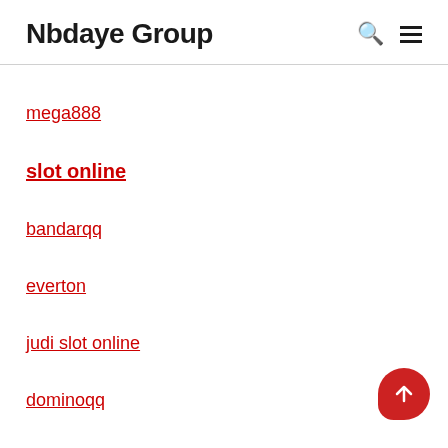Nbdaye Group
mega888
slot online
bandarqq
everton
judi slot online
dominoqq